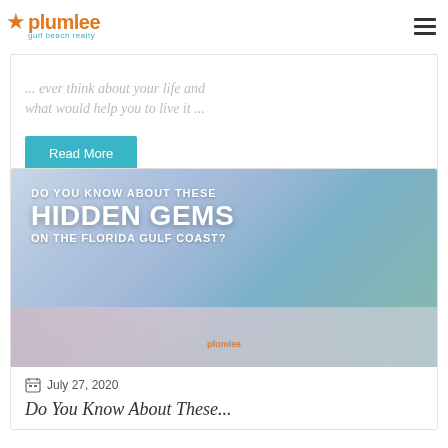plumlee gulf beach realty
... ever think about your life and what would help you to live it ...
Read More
[Figure (photo): Hero image with text overlay: DO YOU KNOW ABOUT THESE HIDDEN GEMS ON THE FLORIDA GULF COAST? with Plumlee logo, beachscape background with purple/blue tones]
July 27, 2020
Do You Know About These...